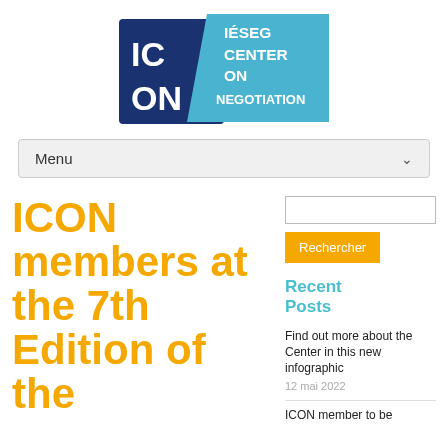[Figure (logo): ICON – IÉSEG Center on Negotiation logo. Dark navy blue square with 'IC ON' in white letters, overlapping with a lighter blue angled rectangle with 'IÉSEG CENTER ON NEGOTIATION' in white letters.]
Menu
ICON members at the 7th Edition of the
Rechercher
Recent Posts
Find out more about the Center in this new infographic
12 mai 2022
ICON member to be